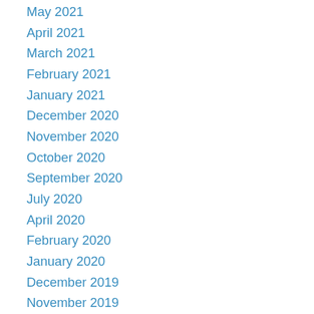May 2021
April 2021
March 2021
February 2021
January 2021
December 2020
November 2020
October 2020
September 2020
July 2020
April 2020
February 2020
January 2020
December 2019
November 2019
October 2019
September 2019
June 2019
May 2019
January 2019